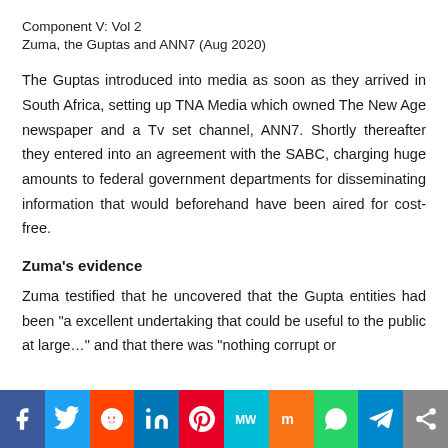Component V: Vol 2
Zuma, the Guptas and ANN7 (Aug 2020)
The Guptas introduced into media as soon as they arrived in South Africa, setting up TNA Media which owned The New Age newspaper and a Tv set channel, ANN7. Shortly thereafter they entered into an agreement with the SABC, charging huge amounts to federal government departments for disseminating information that would beforehand have been aired for cost-free.
Zuma’s evidence
Zuma testified that he uncovered that the Gupta entities had been “a excellent undertaking that could be useful to the public at large…” and that there was “nothing corrupt or